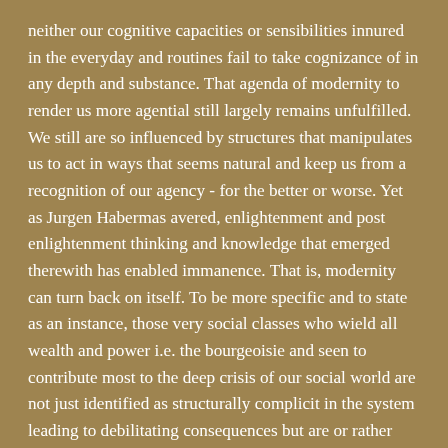neither our cognitive capacities or sensibilities innured in the everyday and routines fail to take cognizance of in any depth and substance. That agenda of modernity to render us more agential still largely remains unfulfilled. We still are so influenced by structures that manipulates us to act in ways that seems natural and keep us from a recognition of our agency - for the better or worse. Yet as Jurgen Habermas avered, enlightenment and post enlightenment thinking and knowledge that emerged therewith has enabled immanence. That is, modernity can turn back on itself. To be more specific and to state as an instance, those very social classes who wield all wealth and power i.e. the bourgeoisie and seen to contribute most to the deep crisis of our social world are not just identified as structurally complicit in the system leading to debilitating consequences but are or rather could themselves be re-awakened to recognise their own role and agency in a newer framework. This possibility then can have them act on themselves and the iniquitous system engendered by virtue of them being the bourgeoisie. For in classical Marxist understanding, the bourgeoisie, are perceived intrinsically